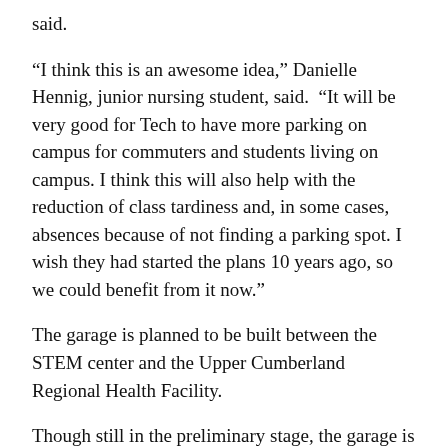said.
“I think this is an awesome idea,” Danielle Hennig, junior nursing student, said.  “It will be very good for Tech to have more parking on campus for commuters and students living on campus. I think this will also help with the reduction of class tardiness and, in some cases, absences because of not finding a parking spot. I wish they had started the plans 10 years ago, so we could benefit from it now.”
The garage is planned to be built between the STEM center and the Upper Cumberland Regional Health Facility.
Though still in the preliminary stage, the garage is expected to cost Tech $20,000 per space.
According to Butler, the temporary gravel lot across the street from the Bryan Fine Arts Building was replaced with a permanent lot recently acquired at Prescott Middle School.